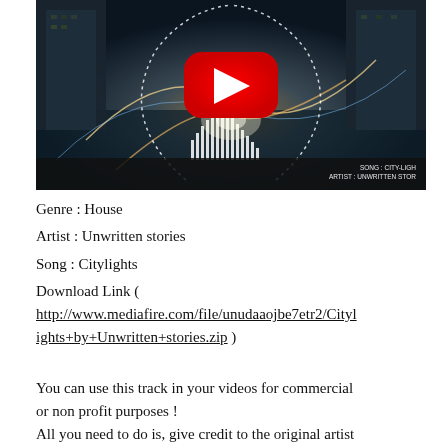[Figure (screenshot): YouTube video thumbnail showing a night city street scene with light trails and audio visualizer effects. YouTube logo/play button overlaid in center. Text in bottom right corner reads 'SONG : CITY-LIGH ARTIST : UNWRITTEN STOR']
Genre : House
Artist : Unwritten stories
Song : Citylights
Download Link ( http://www.mediafire.com/file/unudaaojbe7etr2/Citylights+by+Unwritten+stories.zip )

You can use this track in your videos for commercial or non profit purposes !
All you need to do is, give credit to the original artist